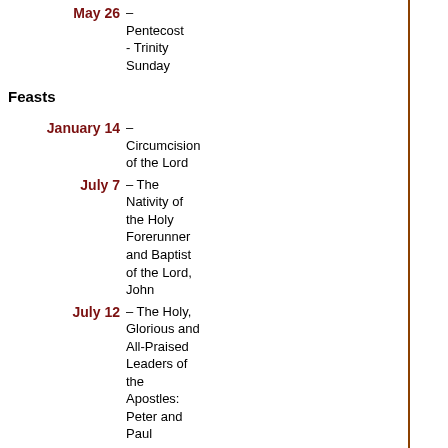May 26 – Pentecost - Trinity Sunday
Feasts
January 14 – Circumcision of the Lord
July 7 – The Nativity of the Holy Forerunner and Baptist of the Lord, John
July 12 – The Holy, Glorious and All-Praised Leaders of the Apostles: Peter and Paul
September 11 – The Beheading of the Prophet, Forerunner of the Lord, John the Baptist